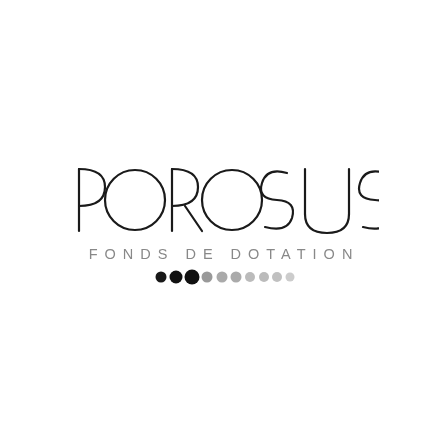[Figure (logo): Porosus Fonds de Dotation logo: large thin-weight uppercase 'POROSUS' text with geometric letterforms, subtitle 'FONDS DE DOTATION' in spaced small caps, and a row of dots graduating from black to light gray beneath.]